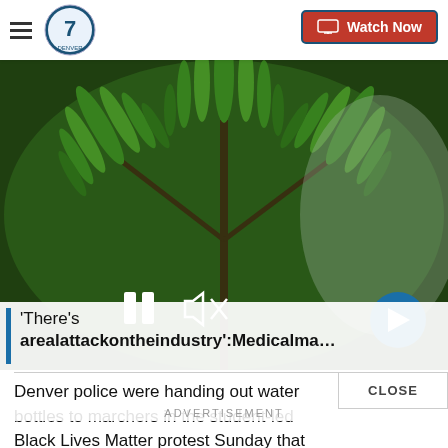Denver 7 - Watch Now
[Figure (photo): Close-up photo of cannabis/marijuana plant with green leaves, used as video thumbnail in a news story about the medical marijuana industry.]
'There's arealattackontheindustry':Medicalma…
Denver police were handing out water bottles to marchers in the student-led Black Lives Matter protest Sunday that drew thousands.
ADVERTISEMENT
CLOSE